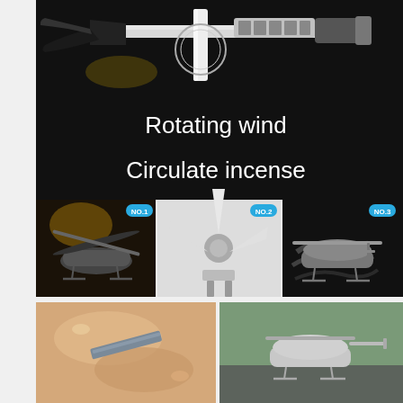[Figure (photo): Product marketing image showing a helicopter air freshener with rotating rotor mechanism on dark background with text 'Rotating wind' and 'Circulate incense', plus three sub-images labeled NO.1, NO.2, NO.3 showing the product from different angles]
[Figure (photo): Two bottom images: left shows hands peeling adhesive tape, right shows helicopter air freshener mounted on car dashboard]